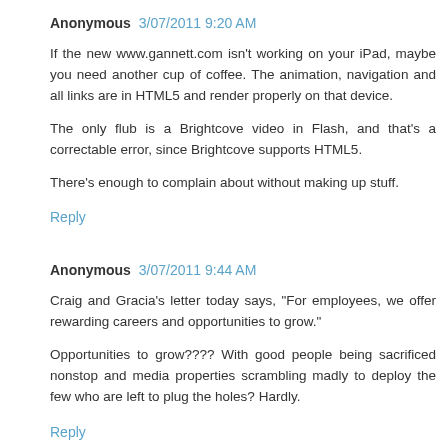Anonymous 3/07/2011 9:20 AM
If the new www.gannett.com isn't working on your iPad, maybe you need another cup of coffee. The animation, navigation and all links are in HTML5 and render properly on that device.
The only flub is a Brightcove video in Flash, and that's a correctable error, since Brightcove supports HTML5.
There's enough to complain about without making up stuff.
Reply
Anonymous 3/07/2011 9:44 AM
Craig and Gracia's letter today says, "For employees, we offer rewarding careers and opportunities to grow."
Opportunities to grow???? With good people being sacrificed nonstop and media properties scrambling madly to deploy the few who are left to plug the holes? Hardly.
Reply